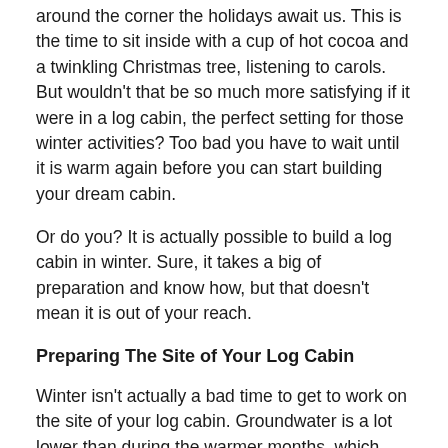around the corner the holidays await us. This is the time to sit inside with a cup of hot cocoa and a twinkling Christmas tree, listening to carols. But wouldn't that be so much more satisfying if it were in a log cabin, the perfect setting for those winter activities? Too bad you have to wait until it is warm again before you can start building your dream cabin.
Or do you? It is actually possible to build a log cabin in winter. Sure, it takes a big of preparation and know how, but that doesn't mean it is out of your reach.
Preparing The Site of Your Log Cabin
Winter isn't actually a bad time to get to work on the site of your log cabin. Groundwater is a lot lower than during the warmer months, which makes it an easier job and requires less work to get rid of it. Frost can be an issue if you are deep into the season, so you want to get